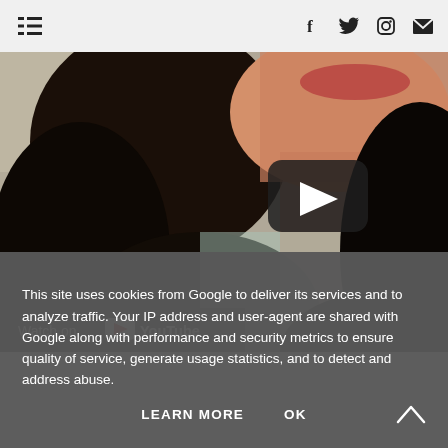Navigation bar with hamburger menu and social icons: facebook, twitter, instagram, email
[Figure (screenshot): YouTube video thumbnail showing a woman with long dark hair, outdoor background. Includes a play button overlay and 'Watch on YouTube' bar at the bottom left.]
This site uses cookies from Google to deliver its services and to analyze traffic. Your IP address and user-agent are shared with Google along with performance and security metrics to ensure quality of service, generate usage statistics, and to detect and address abuse.
LEARN MORE   OK